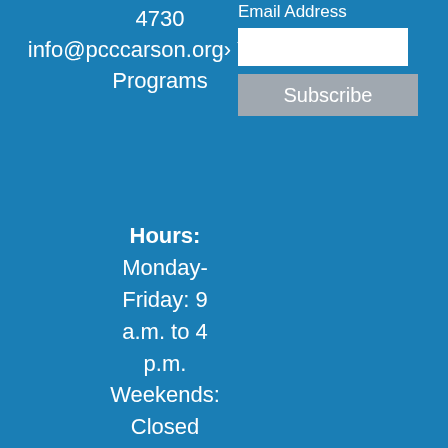4730 info@pcccarson.org › Youth Programs
Email Address
Hours: Monday-Friday: 9 a.m. to 4 p.m. Weekends: Closed *Our office is currently open with limited staff. Please call ahead to visit. We
Subscribe